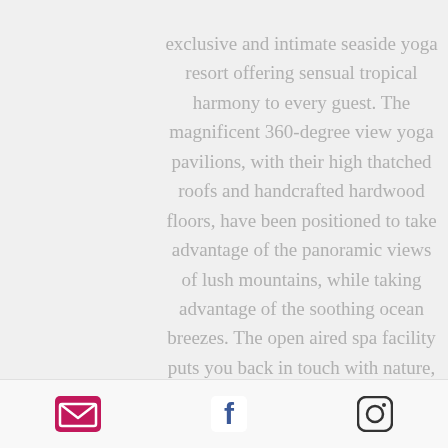exclusive and intimate seaside yoga resort offering sensual tropical harmony to every guest. The magnificent 360-degree view yoga pavilions, with their high thatched roofs and handcrafted hardwood floors, have been positioned to take advantage of the panoramic views of lush mountains, while taking advantage of the soothing ocean breezes. The open aired spa facility puts you back in touch with nature, as you are pampered body and spirit. There's a beautiful infinity pool, looking over the pacific. There is also plenty of space to
[Figure (infographic): Footer with three social media icons: email (envelope, pink/magenta background), Facebook (F logo, blue), Instagram (camera outline, dark grey)]